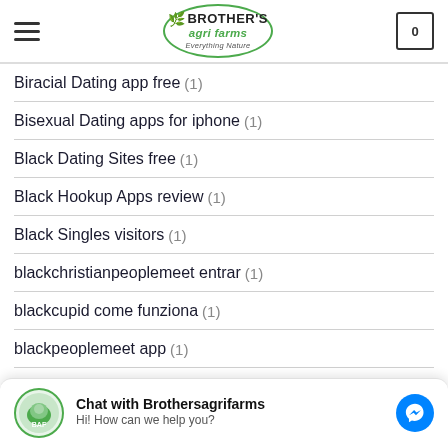BROTHER'S agri farms - Everything Nature
Biracial Dating app free (1)
Bisexual Dating apps for iphone (1)
Black Dating Sites free (1)
Black Hookup Apps review (1)
Black Singles visitors (1)
blackchristianpeoplemeet entrar (1)
blackcupid come funziona (1)
blackpeoplemeet app (1)
Chat with Brothersagrifarms
Hi! How can we help you?